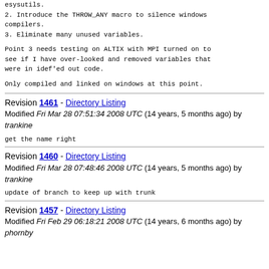esysutils.
2. Introduce the THROW_ANY macro to silence windows compilers.
3. Eliminate many unused variables.
Point 3 needs testing on ALTIX with MPI turned on to see if I have over-looked and removed variables that were in idef'ed out code.
Only compiled and linked on windows at this point.
Revision 1461 - Directory Listing
Modified Fri Mar 28 07:51:34 2008 UTC (14 years, 5 months ago) by trankine
get the name right
Revision 1460 - Directory Listing
Modified Fri Mar 28 07:48:46 2008 UTC (14 years, 5 months ago) by trankine
update of branch to keep up with trunk
Revision 1457 - Directory Listing
Modified Fri Feb 29 06:18:21 2008 UTC (14 years, 6 months ago) by phornby